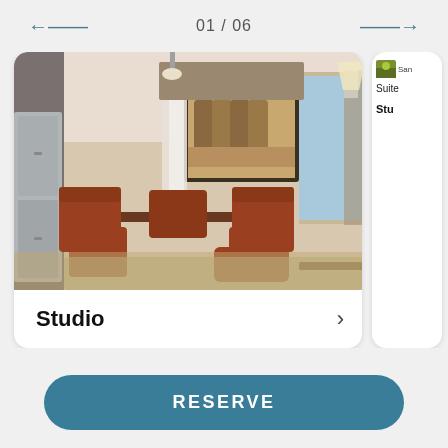01 / 06
[Figure (photo): Hotel studio suite room photo showing dining area with red/brown chairs and table, work desk with office chair, large windows, framed art on wall, living area with sofa]
Studio
[Figure (photo): Partially visible second card showing thumbnail image and Suite / Stu labels]
RESERVE